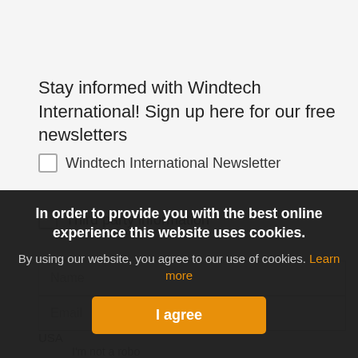Stay informed with Windtech International! Sign up here for our free newsletters
Windtech International Newsletter
Third party information
Name
Email
USA
I'm not a robot
In order to provide you with the best online experience this website uses cookies.
By using our website, you agree to our use of cookies. Learn more
I agree